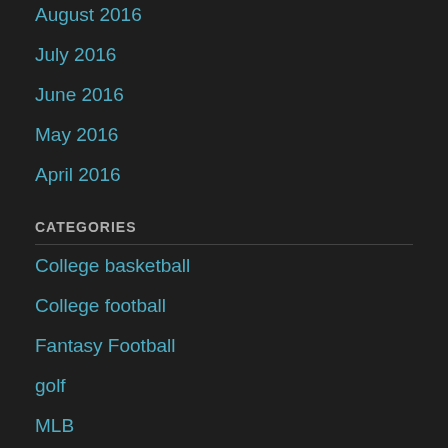August 2016
July 2016
June 2016
May 2016
April 2016
CATEGORIES
College basketball
College football
Fantasy Football
golf
MLB
Mystery Punch
NBA
NFL
NHL
Podcasts